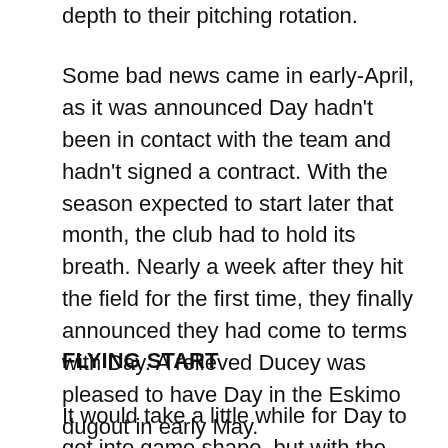depth to their pitching rotation.
Some bad news came in early-April, as it was announced Day hadn't been in contact with the team and hadn't signed a contract. With the season expected to start later that month, the club had to hold its breath. Nearly a week after they hit the field for the first time, they finally announced they had come to terms with Day. A relieved Ducey was pleased to have Day in the Eskimo dugout in early May.
FLYING START
It would take a little while for Day to get into game shape, but with the Eskimos on the